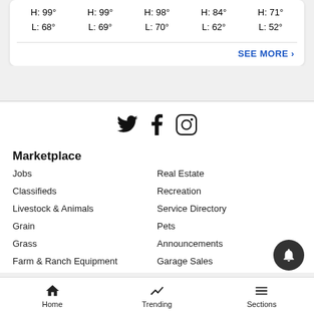| H: 99° | H: 99° | H: 98° | H: 84° | H: 71° |
| L: 68° | L: 69° | L: 70° | L: 62° | L: 52° |
SEE MORE ›
[Figure (other): Social media icons: Twitter bird, Facebook f, Instagram camera]
Marketplace
Jobs
Real Estate
Classifieds
Recreation
Livestock & Animals
Service Directory
Grain
Pets
Grass
Announcements
Farm & Ranch Equipment
Garage Sales
Home  Trending  Sections